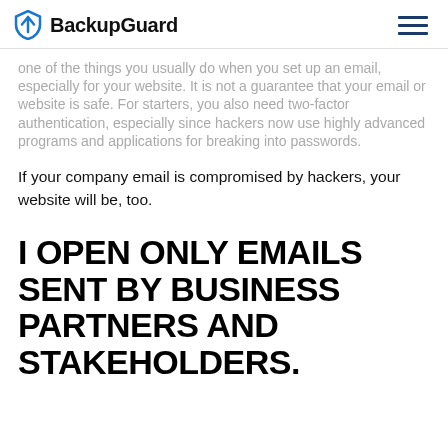BackupGuard
one of the things you usually do when you set up an email, especially for your website. It is not a guarantee that your email or website is safe. For starters, you also need two-factor authentication, especially since hackers now use highly advanced programs and applications for breaking into passwords.
If your company email is compromised by hackers, your website will be, too.
I OPEN ONLY EMAILS SENT BY BUSINESS PARTNERS AND STAKEHOLDERS.